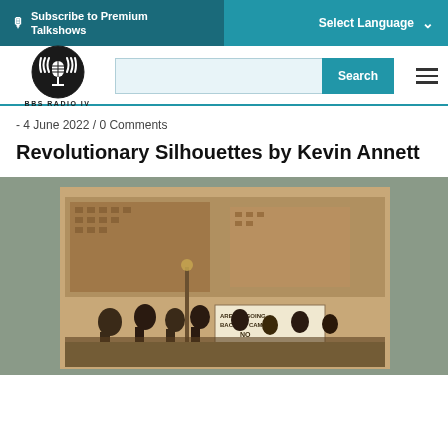Subscribe to Premium Talkshows | Select Language
[Figure (logo): BBS Radio IV circular logo with microphone icon]
- 4 June 2022 / 0 Comments
Revolutionary Silhouettes by Kevin Annett
[Figure (photo): Sepia-toned historical photograph of people marching in a street protest, holding a banner that reads 'ARE WE GOING BACK TO CAMP? NO', with brick buildings in the background]